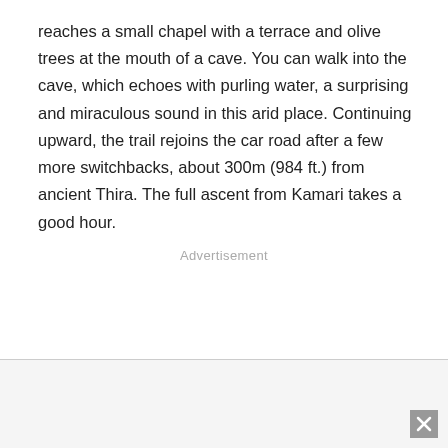reaches a small chapel with a terrace and olive trees at the mouth of a cave. You can walk into the cave, which echoes with purling water, a surprising and miraculous sound in this arid place. Continuing upward, the trail rejoins the car road after a few more switchbacks, about 300m (984 ft.) from ancient Thira. The full ascent from Kamari takes a good hour.
Advertisement
[Figure (other): Advertisement banner area at the bottom of the page with a close/dismiss button (X) in the bottom-right corner]